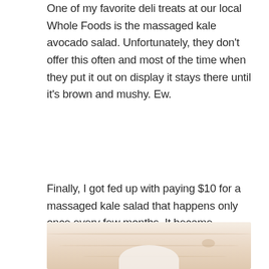One of my favorite deli treats at our local Whole Foods is the massaged kale avocado salad. Unfortunately, they don't offer this often and most of the time when they put it out on display it stays there until it's brown and mushy. Ew.
Finally, I got fed up with paying $10 for a massaged kale salad that happens only once every few months. It became obviously absurd to me that I would even pay money like that for something I could make so easily at home. And then this salad was born.
[Figure (photo): A light-colored wooden cutting board or table surface with wood grain texture visible, and the top of a white bowl peeking up from the bottom of the frame.]